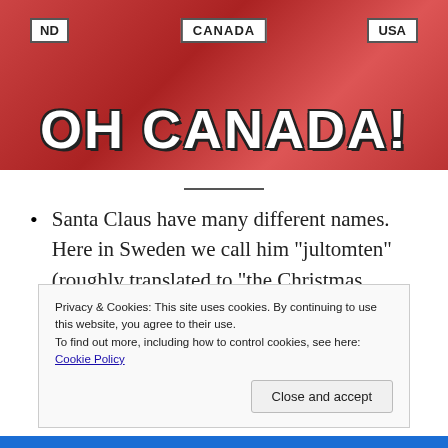[Figure (screenshot): Simpsons meme image with 'OH CANADA!' text overlay and signs reading 'ND', 'CANADA', 'USA']
Santa Claus have many different names. Here in Sweden we call him “jultomten” (roughly translated to “the Christmas gnome”). In France, he’s called Pere Noel, Kriss Kringle in Germany and Le Befana in Italy. What is he called in your country?
Privacy & Cookies: This site uses cookies. By continuing to use this website, you agree to their use.
To find out more, including how to control cookies, see here: Cookie Policy